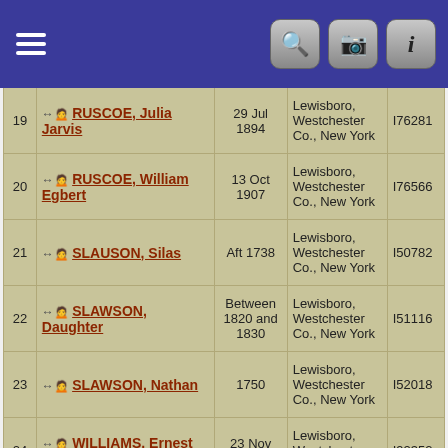Navigation header with hamburger menu and icons
| # | Name | Date | Place | ID |
| --- | --- | --- | --- | --- |
| 19 | RUSCOE, Julia Jarvis | 29 Jul 1894 | Lewisboro, Westchester Co., New York | I76281 |
| 20 | RUSCOE, William Egbert | 13 Oct 1907 | Lewisboro, Westchester Co., New York | I76566 |
| 21 | SLAUSON, Silas | Aft 1738 | Lewisboro, Westchester Co., New York | I50782 |
| 22 | SLAWSON, Daughter | Between 1820 and 1830 | Lewisboro, Westchester Co., New York | I51116 |
| 23 | SLAWSON, Nathan | 1750 | Lewisboro, Westchester Co., New York | I52018 |
| 24 | WILLIAMS, Ernest L. | 23 Nov 1941 | Lewisboro, Westchester Co., New York | I92352 |